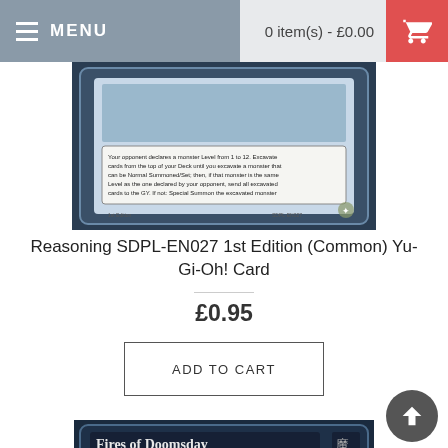MENU   0 item(s) - £0.00
[Figure (photo): Yu-Gi-Oh! card showing Reasoning SDPL-EN027 1st Edition (Common) card with text about monster levels and excavation]
Reasoning SDPL-EN027 1st Edition (Common) Yu-Gi-Oh! Card
£0.95
ADD TO CART
[Figure (photo): Yu-Gi-Oh! card showing Fires of Doomsday Spell Card with dark blue artwork featuring a shadowy monster figure]